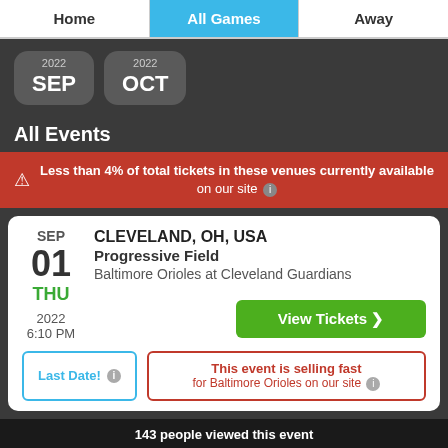Home | All Games | Away
2022 SEP
2022 OCT
All Events
Less than 4% of total tickets in these venues currently available on our site
| Date | Venue | Event | Action |
| --- | --- | --- | --- |
| SEP 01 THU 2022 6:10 PM | CLEVELAND, OH, USA
Progressive Field | Baltimore Orioles at Cleveland Guardians | View Tickets |
Last Date! | This event is selling fast for Baltimore Orioles on our site
143 people viewed this event